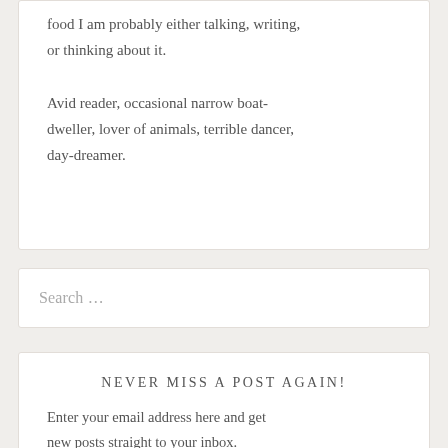food I am probably either talking, writing, or thinking about it.

Avid reader, occasional narrow boat-dweller, lover of animals, terrible dancer, day-dreamer.
Search …
NEVER MISS A POST AGAIN!
Enter your email address here and get new posts straight to your inbox.